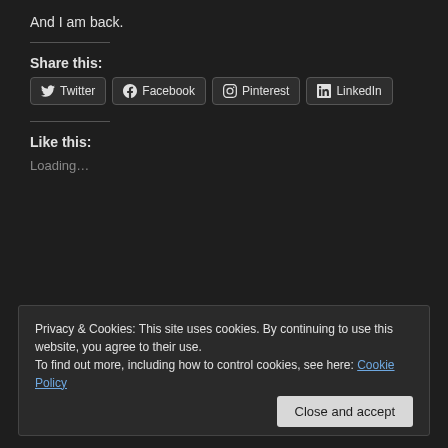And I am back.
Share this:
[Figure (other): Social share buttons: Twitter, Facebook, Pinterest, LinkedIn]
Like this:
Loading...
Privacy & Cookies: This site uses cookies. By continuing to use this website, you agree to their use.
To find out more, including how to control cookies, see here: Cookie Policy